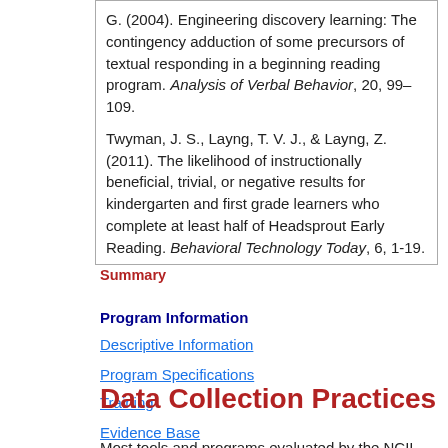G. (2004). Engineering discovery learning: The contingency adduction of some precursors of textual responding in a beginning reading program. Analysis of Verbal Behavior, 20, 99–109.
Twyman, J. S., Layng, T. V. J., & Layng, Z. (2011). The likelihood of instructionally beneficial, trivial, or negative results for kindergarten and first grade learners who complete at least half of Headsprout Early Reading. Behavioral Technology Today, 6, 1-19.
Summary
Program Information
Descriptive Information
Program Specifications
Training
Data Collection Practices
Evidence Base
Most tools and programs evaluated by the NCII are branded products which have been submitted by the
Study Information